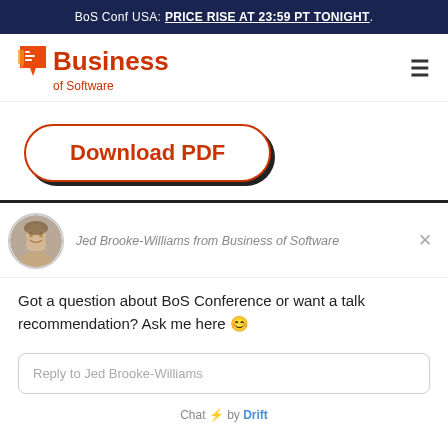BoS Conf USA: PRICE RISE AT 23:59 PT TONIGHT.
[Figure (logo): Business of Software logo with red speech bubble icon and red text]
Download PDF
[Figure (photo): Circular avatar photo of Jed Brooke-Williams]
Jed Brooke-Williams from Business of Software
Got a question about BoS Conference or want a talk recommendation? Ask me here 😊
Reply to Jed Brooke-Williams
Chat ⚡ by Drift